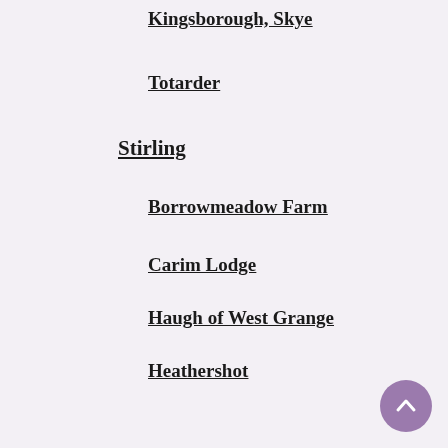Kingsborough, Skye
Totarder
Stirling
Borrowmeadow Farm
Carim Lodge
Haugh of West Grange
Heathershot
Keir Home Farm
MARIEVILLE
Polmaise castle